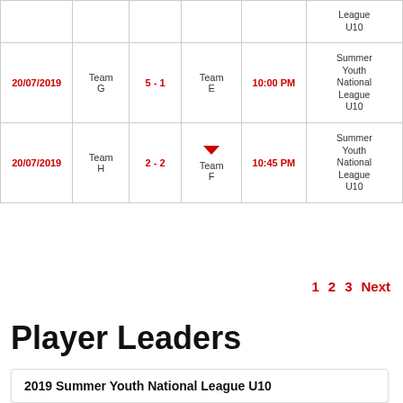| Date | Team | Score | Opponent | Time | League |
| --- | --- | --- | --- | --- | --- |
|  |  |  |  |  | League
U10 |
| 20/07/2019 | Team G | 5 - 1 | Team E | 10:00 PM | Summer Youth National League U10 |
| 20/07/2019 | Team H | 2 - 2 | Team F | 10:45 PM | Summer Youth National League U10 |
1  2  3  Next
Player Leaders
2019 Summer Youth National League U10